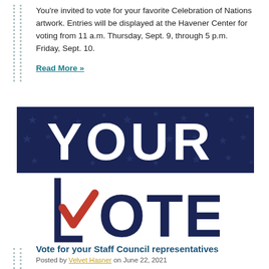You're invited to vote for your favorite Celebration of Nations artwork. Entries will be displayed at the Havener Center for voting from 11 a.m. Thursday, Sept. 9, through 5 p.m. Friday, Sept. 10.
Read More »
[Figure (illustration): Two-part voting graphic. Top: dark navy blue banner with large white text 'YOUR' and star pattern background. Bottom: white background with large dark navy block letters 'VOTE' where the V includes a red checkmark graphic inside a square bracket.]
Vote for your Staff Council representatives
Posted by Velvet Hasner on June 22, 2021